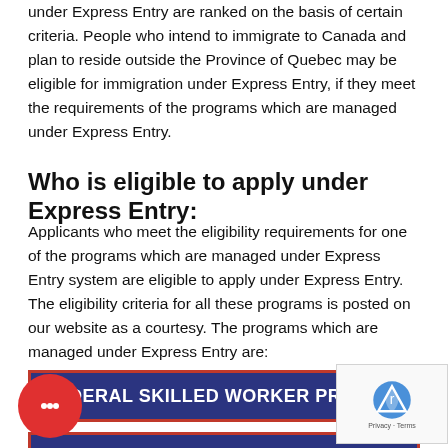under Express Entry are ranked on the basis of certain criteria. People who intend to immigrate to Canada and plan to reside outside the Province of Quebec may be eligible for immigration under Express Entry, if they meet the requirements of the programs which are managed under Express Entry.
Who is eligible to apply under Express Entry:
Applicants who meet the eligibility requirements for one of the programs which are managed under Express Entry system are eligible to apply under Express Entry. The eligibility criteria for all these programs is posted on our website as a courtesy. The programs which are managed under Express Entry are:
FEDERAL SKILLED WORKER PROGRAM (F...
FEDERAL SKILLED TRADES PROGRAM (FSTP)